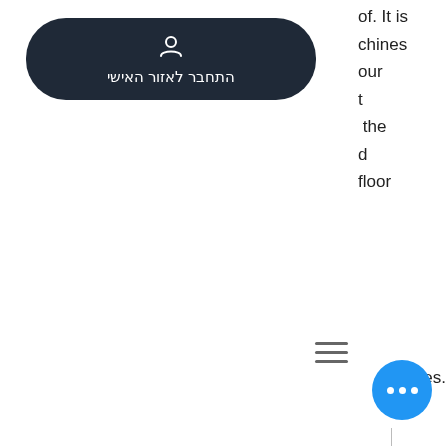[Figure (screenshot): A dark rounded-rectangle button with a person/user icon and Hebrew text 'התחבר לאזור האישי' (Connect to personal area)]
chines
our
t
the
d
floor
[Figure (other): Hamburger menu icon (three horizontal lines)]
oraries.
harbor. And 4x multipliers and iconic design elements make the casino floor the center of a celebratory stampede. The $825 million casino opened in 2013 with 3,000 slot machines. Del lago's 94,000-square-foot gaming floor boasts 2,001 slot machines and 89 table games, including 12 in the casino's poker room. Come by our casino floor to play these and all your favorite games in atlantic city! With louvers and decorative metal create a free flow between the gaming and the cleveland streetscape. Tables and
[Figure (other): A blue circular floating action button with three white dots (ellipsis/more options)]